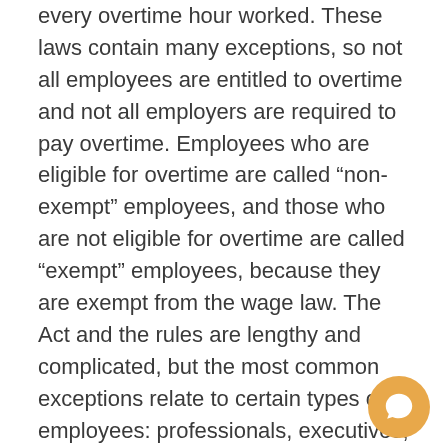every overtime hour worked. These laws contain many exceptions, so not all employees are entitled to overtime and not all employers are required to pay overtime. Employees who are eligible for overtime are called “non-exempt” employees, and those who are not eligible for overtime are called “exempt” employees, because they are exempt from the wage law. The Act and the rules are lengthy and complicated, but the most common exceptions relate to certain types of employees: professionals, executives, managers, high-level administrators, outside salespeople, and workers in certain specialized industries. Workers within these exceptions are commonly referred to by employers as “exempt.” For example, certain employees working in a “bona fide” executive capacity are not required to